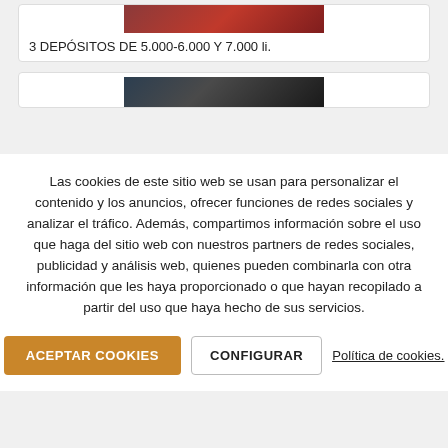[Figure (photo): Partial product image at top of card, red/brown tones]
3 DEPÓSITOS DE 5.000-6.000 Y 7.000 li.
[Figure (photo): Partial product image in second card, dark tones with orange/yellow elements]
Las cookies de este sitio web se usan para personalizar el contenido y los anuncios, ofrecer funciones de redes sociales y analizar el tráfico. Además, compartimos información sobre el uso que haga del sitio web con nuestros partners de redes sociales, publicidad y análisis web, quienes pueden combinarla con otra información que les haya proporcionado o que hayan recopilado a partir del uso que haya hecho de sus servicios.